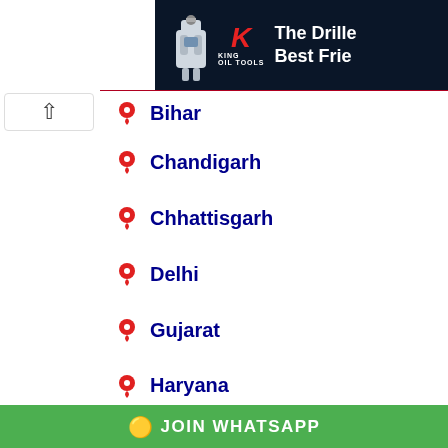[Figure (screenshot): Advertisement banner for King Oil Tools showing robot and text 'The Driller's Best Friend']
Bihar
Chandigarh
Chhattisgarh
Delhi
Goa
Gujarat
Haryana
Himachal Pradesh
JOIN WHATSAPP